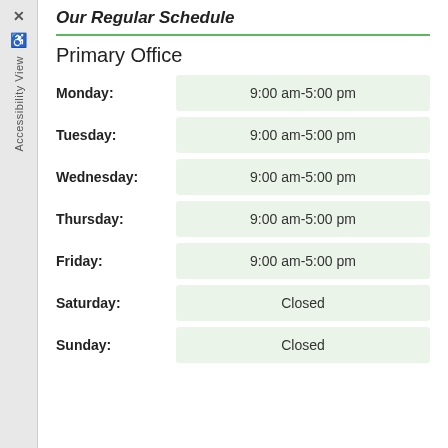Our Regular Schedule
Primary Office
| Day | Hours |
| --- | --- |
| Monday: | 9:00 am-5:00 pm |
| Tuesday: | 9:00 am-5:00 pm |
| Wednesday: | 9:00 am-5:00 pm |
| Thursday: | 9:00 am-5:00 pm |
| Friday: | 9:00 am-5:00 pm |
| Saturday: | Closed |
| Sunday: | Closed |